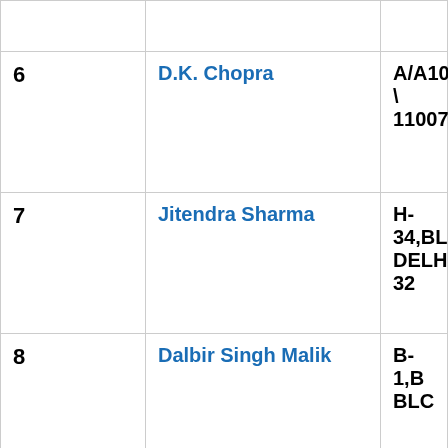| # | Name | Address |
| --- | --- | --- |
| 6 | D.K. Chopra | A/A1039 V... 110070 |
| 7 | Jitendra Sharma | H-34,BLO... DELHI 32 |
| 8 | Dalbir Singh Malik | B-1,B BLC... |
| 9 | Dilip Kumar | HOUSE G... |